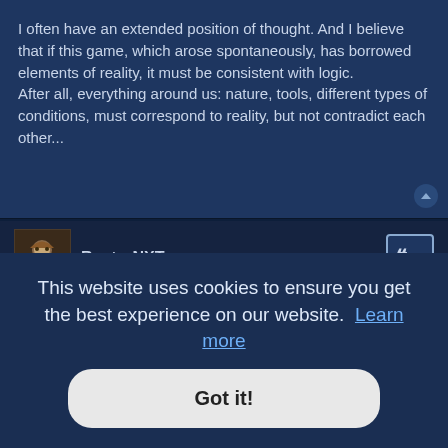I often have an extended position of thought. And I believe that if this game, which arose spontaneously, has borrowed elements of reality, it must be consistent with logic.
After all, everything around us: nature, tools, different types of conditions, must correspond to reality, but not contradict each other...
RaptorNXT
Re: Hi there! Notice this, please.
Tue Apr 19, 2022 11:15 am
MIChaos wrote: ↑
I often have an extended position of thought. And I believe that if this game, which arose spontaneously, has borrowed elements of reality, it must be consistent with logic. After all, everything around us: nature, tools, different types of conditions, must correspond to reality, but not contradict each other...
...ng lava.
This website uses cookies to ensure you get the best experience on our website.  Learn more
Got it!